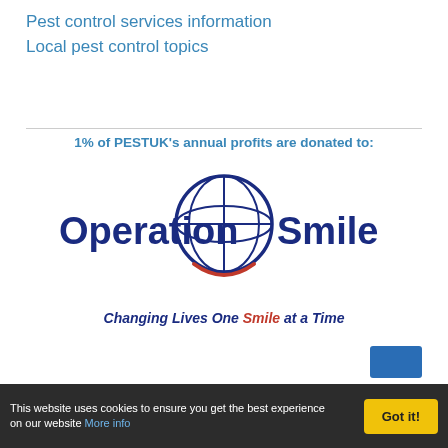Pest control services information
Local pest control topics
[Figure (logo): Operation Smile logo with globe graphic, text reading 'Operation Smile' in dark blue, tagline '1% of PESTUK's annual profits are donated to:' in blue, and 'Changing Lives One Smile at a Time' in dark blue and red italic text below]
This website uses cookies to ensure you get the best experience on our website More info  Got it!